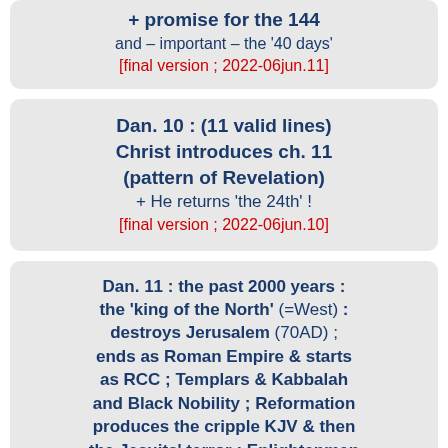+ promise for the 144
and – important – the '40 days'
[final version ; 2022-06jun.11]
Dan. 10 : (11 valid lines)
Christ introduces ch. 11
(pattern of Revelation)
+ He returns 'the 24th' !
[final version ; 2022-06jun.10]
Dan. 11 : the past 2000 years : the 'king of the North' (=West) : destroys Jerusalem (70AD) ; ends as Roman Empire & starts as RCC ; Templars & Kabbalah and Black Nobility ; Reformation produces the cripple KJV & then the Jesuits' terror ; Enlightenmen & his start of the NWO (kreat